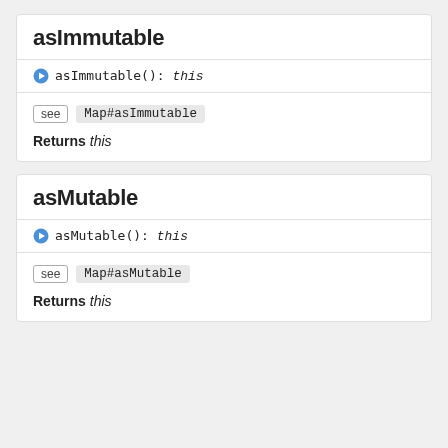asImmutable
asImmutable(): this
see  Map#asImmutable
Returns this
asMutable
asMutable(): this
see  Map#asMutable
Returns this